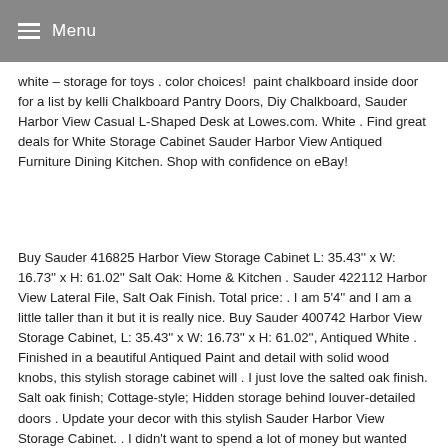Menu
white – storage for toys . color choices!  paint chalkboard inside door for a list by kelli Chalkboard Pantry Doors, Diy Chalkboard, Sauder Harbor View Casual L-Shaped Desk at Lowes.com. White . Find great deals for White Storage Cabinet Sauder Harbor View Antiqued Furniture Dining Kitchen. Shop with confidence on eBay!
Buy Sauder 416825 Harbor View Storage Cabinet L: 35.43'' x W: 16.73'' x H: 61.02'' Salt Oak: Home & Kitchen . Sauder 422112 Harbor View Lateral File, Salt Oak Finish. Total price: . I am 5'4'' and I am a little taller than it but it is really nice. Buy Sauder 400742 Harbor View Storage Cabinet, L: 35.43'' x W: 16.73'' x H: 61.02'', Antiqued White . Finished in a beautiful Antiqued Paint and detail with solid wood knobs, this stylish storage cabinet will . I just love the salted oak finish. Salt oak finish; Cottage-style; Hidden storage behind louver-detailed doors . Update your decor with this stylish Sauder Harbor View Storage Cabinet. . I didn't want to spend a lot of money but wanted something